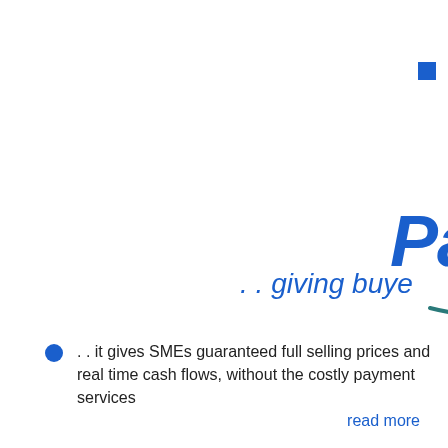[Figure (logo): Pay It logo in bold italic blue text with a dark teal swoosh underline, partially cropped at right edge; small blue square in upper right corner]
.. giving buye
...  it gives SMEs guaranteed full selling prices and real time cash flows, without the costly payment services
read more